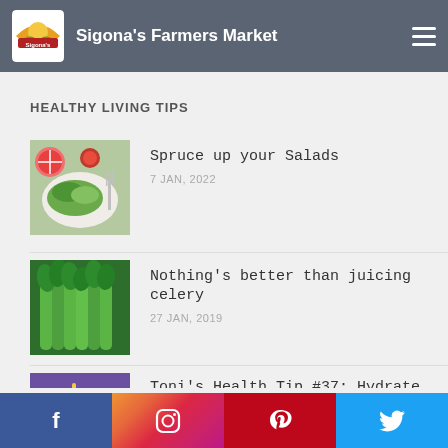Sigona's Farmers Market
HEALTHY LIVING TIPS
Spruce up your Salads
7 JAN, 2022
Nothing's better than juicing celery
27 JAN, 2019
Toni's Health Tip #37: Hydrate Naturally with Fruits and Veggies
20 JUN, 2018
Facebook | Instagram | Pinterest | Twitter